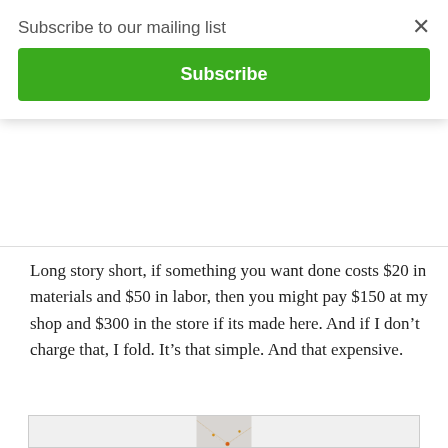Subscribe to our mailing list
Subscribe
Long story short, if something you want done costs $20 in materials and $50 in labor, then you might pay $150 at my shop and $300 in the store if its made here. And if I don't charge that, I fold. It's that simple. And that expensive.
[Figure (photo): Close-up photograph of a gold necklace chain with small orange/yellow gemstone beads set at intervals, displayed against a light gray background.]